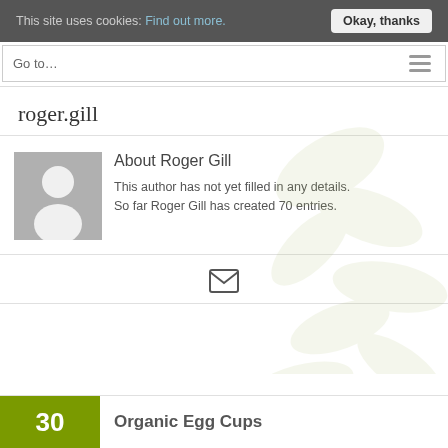This site uses cookies: Find out more.  Okay, thanks
Go to…
roger.gill
About Roger Gill
This author has not yet filled in any details. So far Roger Gill has created 70 entries.
[Figure (other): Email/envelope icon]
30 Organic Egg Cups